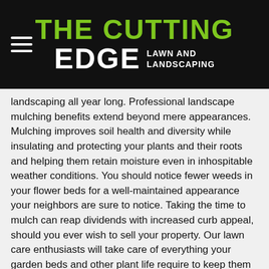[Figure (logo): The Cutting Edge Lawn and Landscaping logo on black background with hamburger menu icon]
landscaping all year long. Professional landscape mulching benefits extend beyond mere appearances. Mulching improves soil health and diversity while insulating and protecting your plants and their roots and helping them retain moisture even in inhospitable weather conditions. You should notice fewer weeds in your flower beds for a well-maintained appearance your neighbors are sure to notice. Taking the time to mulch can reap dividends with increased curb appeal, should you ever wish to sell your property. Our lawn care enthusiasts will take care of everything your garden beds and other plant life require to keep them healthy and hydrated. We’re passionate about what we do and offering eco-friendly lawn and landscaping solutions for Tennessee property owners.
When Is the Best Time of Year for Landscape mulching?
Mulching is recommended at least once per year and may